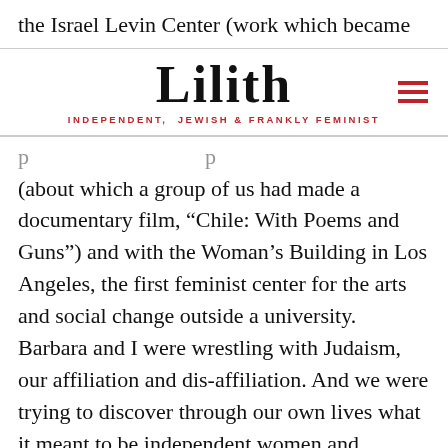the Israel Levin Center (work which became
Lilith — INDEPENDENT, JEWISH & FRANKLY FEMINIST
(about which a group of us had made a documentary film, “Chile: With Poems and Guns”) and with the Woman’s Building in Los Angeles, the first feminist center for the arts and social change outside a university. Barbara and I were wrestling with Judaism, our affiliation and dis-affiliation. And we were trying to discover through our own lives what it meant to be independent women and thinkers while raising children, being wives and partners, running households, earning our